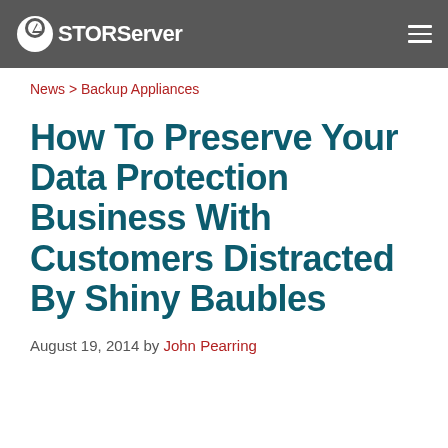STORServer
News > Backup Appliances
How To Preserve Your Data Protection Business With Customers Distracted By Shiny Baubles
August 19, 2014 by John Pearring